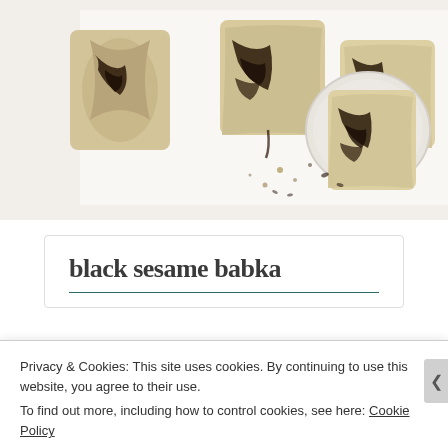[Figure (photo): Overhead photo of sliced black sesame babka bread on white parchment paper. Multiple slices showing dark swirled filling, one slice on a round plate, scattered crumbs and sesame seeds on white background.]
black sesame babka
Privacy & Cookies: This site uses cookies. By continuing to use this website, you agree to their use.
To find out more, including how to control cookies, see here: Cookie Policy